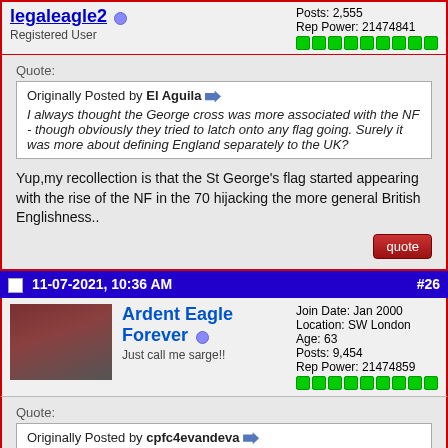legaleagle2 [online] Registered User | Posts: 2,555 Rep Power: 21474841
Quote: Originally Posted by El Aguila
I always thought the George cross was more associated with the NF - though obviously they tried to latch onto any flag going. Surely it was more about defining England separately to the UK?
Yup,my recollection is that the St George's flag started appearing with the rise of the NF in the 70 hijacking the more general British Englishness..
11-07-2021, 10:36 AM  #26
Ardent Eagle Forever [online] Just call me sarge!! | Join Date: Jan 2000 Location: SW London Age: 63 Posts: 9,454 Rep Power: 21474859
Quote: Originally Posted by cpfc4evandeva
Deadly serious - I don't care if we don't win tonight. These ***** are going to absolutely hijack a victory